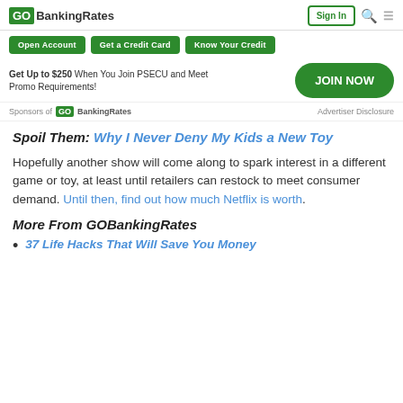GOBankingRates | Sign In
Open Account | Get a Credit Card | Know Your Credit
Get Up to $250 When You Join PSECU and Meet Promo Requirements! JOIN NOW
Sponsors of GOBankingRates | Advertiser Disclosure
Spoil Them: Why I Never Deny My Kids a New Toy
Hopefully another show will come along to spark interest in a different game or toy, at least until retailers can restock to meet consumer demand. Until then, find out how much Netflix is worth.
More From GOBankingRates
37 Life Hacks That Will Save You Money